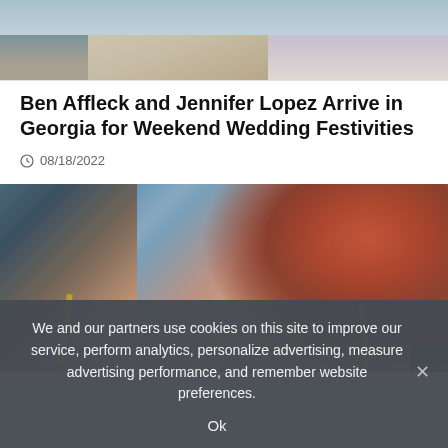[Figure (photo): Top portion of a photo showing people standing outdoors, cropped to show only lower portions of figures in casual/light clothing]
Ben Affleck and Jennifer Lopez Arrive in Georgia for Weekend Wedding Festivities
08/18/2022
[Figure (photo): Photo of a woman with long auburn/red hair wearing a yellow bikini top, posed near what appears to be an airplane or vehicle door, with a rocky landscape in background]
We and our partners use cookies on this site to improve our service, perform analytics, personalize advertising, measure advertising performance, and remember website preferences.
Ok